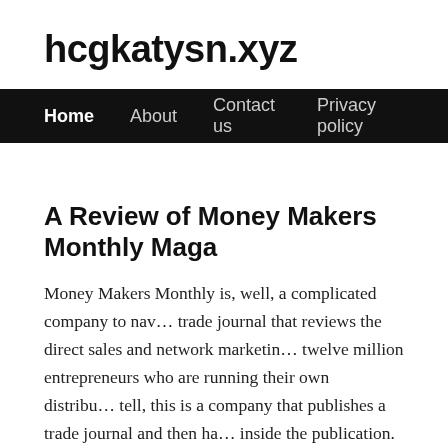hcgkatysn.xyz
Home   About   Contact us   Privacy policy
A Review of Money Makers Monthly Maga…
Money Makers Monthly is, well, a complicated company to nav… trade journal that reviews the direct sales and network marketin… twelve million entrepreneurs who are running their own distribu… tell, this is a company that publishes a trade journal and then ha… inside the publication.
A single issue of the trade journal costs almost four dollars US a… out once a month and has been on the market for eleven years. D… and has a circulation of two hundred thousand in the United Sta… for a trade journal.